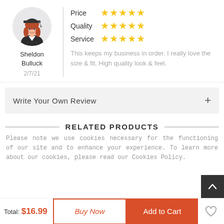[Figure (illustration): Avatar of a person wearing graduation cap and gown]
Sheldon Bulluck
2/7/21
Price ★★★★★
Quality ★★★★★
Service ★★★★★
This keeps my business in order. I really love the size & fit. High quality look & feel.
Write Your Own Review +
RELATED PRODUCTS
Please note we use cookies necessary for the functioning of our site and to enhance your experience. To learn more about our cookies, please read our Cookies Policy.
Total: $16.99
Buy Now
Add to Cart